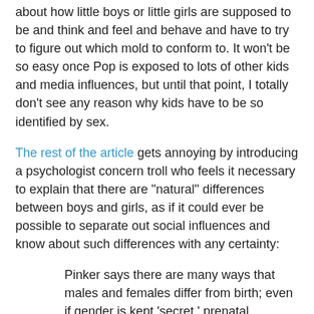about how little boys or little girls are supposed to be and think and feel and behave and have to try to figure out which mold to conform to. It won't be so easy once Pop is exposed to lots of other kids and media influences, but until that point, I totally don't see any reason why kids have to be so identified by sex.
The rest of the article gets annoying by introducing a psychologist concern troll who feels it necessary to explain that there are "natural" differences between boys and girls, as if it could ever be possible to separate out social influences and know about such differences with any certainty:
Pinker says there are many ways that males and females differ from birth; even if gender is kept 'secret,' prenatal hormones developed in the second trimester of pregnancy already alter the way the child behaves and feels.
She says once children can speak, males tell aggressive stories 87 per cent of the time, while